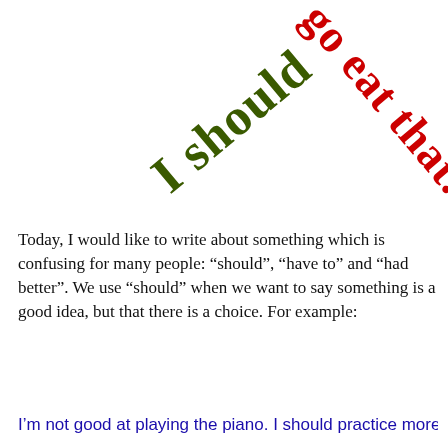[Figure (illustration): Decorative text art: dark green diagonal text 'I should' going up-left, and red diagonal text 'go eat that.' going down-right, forming an X shape on white background.]
Today, I would like to write about something which is confusing for many people: “should”, “have to” and “had better”. We use “should” when we want to say something is a good idea, but that there is a choice. For example:
I’m not good at playing the piano. I should practice more
Privacy & Cookies: This site uses cookies. By continuing to use this website, you agree to their use.
To find out more, including how to control cookies, see here: Cookie Policy